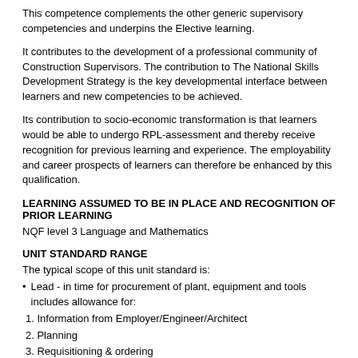This competence complements the other generic supervisory competencies and underpins the Elective learning.
It contributes to the development of a professional community of Construction Supervisors. The contribution to The National Skills Development Strategy is the key developmental interface between learners and new competencies to be achieved.
Its contribution to socio-economic transformation is that learners would be able to undergo RPL-assessment and thereby receive recognition for previous learning and experience. The employability and career prospects of learners can therefore be enhanced by this qualification.
LEARNING ASSUMED TO BE IN PLACE AND RECOGNITION OF PRIOR LEARNING
NQF level 3 Language and Mathematics
UNIT STANDARD RANGE
The typical scope of this unit standard is:
Lead - in time for procurement of plant, equipment and tools includes allowance for:
1.  Information from Employer/Engineer/Architect
2.  Planning
3.  Requisitioning & ordering
4.  Transport & Delivery
Specific Outcomes and Assessment Criteria:
SPECIFIC OUTCOME 1